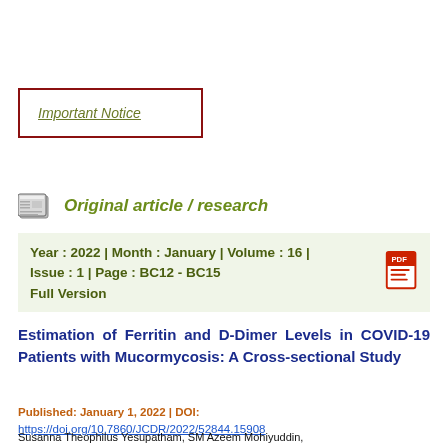Important Notice
Original article / research
Year : 2022 | Month : January | Volume : 16 | Issue : 1 | Page : BC12 - BC15 Full Version
Estimation of Ferritin and D-Dimer Levels in COVID-19 Patients with Mucormycosis: A Cross-sectional Study
Published: January 1, 2022 | DOI: https://doi.org/10.7860/JCDR/2022/52844.15908
Susanna Theophilus Yesupatham, SM Azeem Mohiyuddin, ...